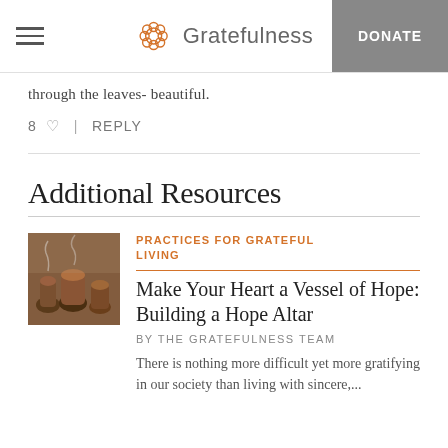Gratefulness | DONATE
through the leaves- beautiful.
8 ♡  |  REPLY
Additional Resources
[Figure (photo): Thumbnail photo of pottery/ceramic vessels with smoke, warm earthy tones]
PRACTICES FOR GRATEFUL LIVING
Make Your Heart a Vessel of Hope: Building a Hope Altar
BY THE GRATEFULNESS TEAM
There is nothing more difficult yet more gratifying in our society than living with sincere,...